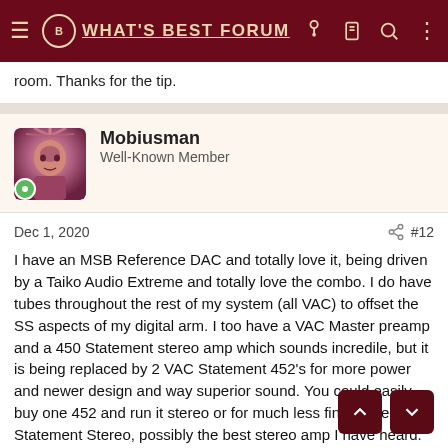WHAT'S BEST FORUM
room. Thanks for the tip.
Mobiusman
Well-Known Member
Dec 1, 2020  #12
I have an MSB Reference DAC and totally love it, being driven by a Taiko Audio Extreme and totally love the combo. I do have tubes throughout the rest of my system (all VAC) to offset the SS aspects of my digital arm. I too have a VAC Master preamp and a 450 Statement stereo amp which sounds incredile, but it is being replaced by 2 VAC Statement 452's for more power and newer design and way superior sound. You could easily buy one 452 and run it stereo or for much less find a used 450 Statement Stereo, possibly the best stereo amp I have heard.
Gregm